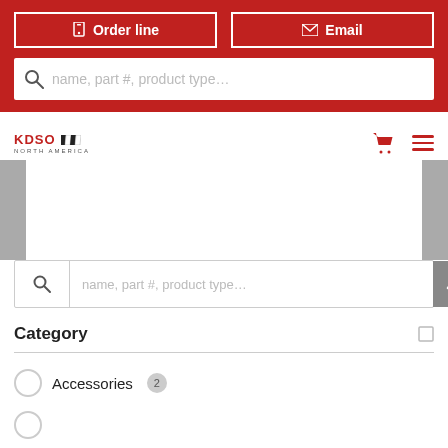[Figure (screenshot): Red header bar with Order line and Email buttons, and a search bar with placeholder text 'name, part #, product type...']
[Figure (logo): KDSO North America logo in red with checkered flag graphic]
[Figure (screenshot): Navigation bar with KDSO logo, red cart icon, and red hamburger menu icon]
[Figure (screenshot): Gray side tabs on left and right, white carousel area]
[Figure (screenshot): Search bar with magnifying glass icon and placeholder text 'name, part #, product type...', with gray up-arrow button]
Category
Accessories 2